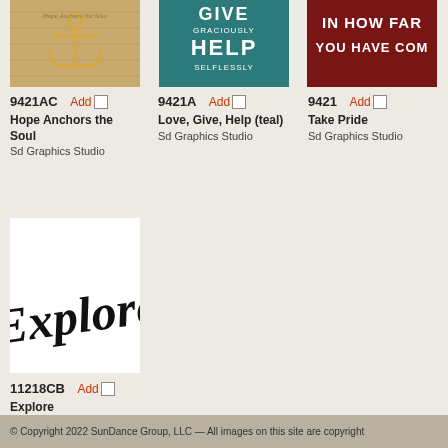[Figure (photo): Anchor on wood background image for product 9421AC]
9421AC  Add □
Hope Anchors the Soul
Sd Graphics Studio
[Figure (photo): Teal background motivational poster: GIVE GRACIOUSLY HELP SELFLESSLY for product 9421A]
9421A  Add □
Love, Give, Help (teal)
Sd Graphics Studio
[Figure (photo): Dark red background motivational poster: IN HOW FAR YOU HAVE COME for product 9421]
9421  Add □
Take Pride
Sd Graphics Studio
[Figure (illustration): White background with cursive script word Explore for product 11218CB]
11218CB  Add □
Explore
Sd Graphics Studio
© Copyright 2022 SunDance Group, LLC — All images on this site are copyright